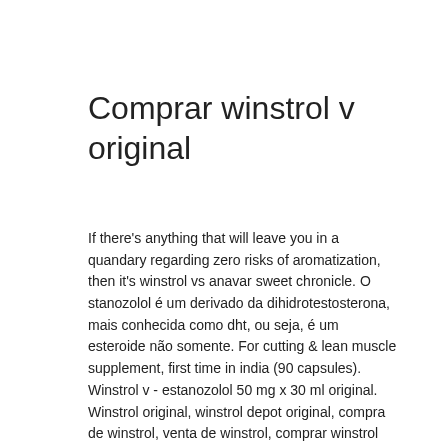Comprar winstrol v original
If there's anything that will leave you in a quandary regarding zero risks of aromatization, then it's winstrol vs anavar sweet chronicle. O stanozolol é um derivado da dihidrotestosterona, mais conhecida como dht, ou seja, é um esteroide não somente. For cutting &amp; lean muscle supplement, first time in india (90 capsules). Winstrol v - estanozolol 50 mg x 30 ml original. Winstrol original, winstrol depot original, compra de winstrol, venta de winstrol, comprar winstrol en. Winstrol fue un esteroide muy popular que fue utilizado especialmente por los atletas de pista y